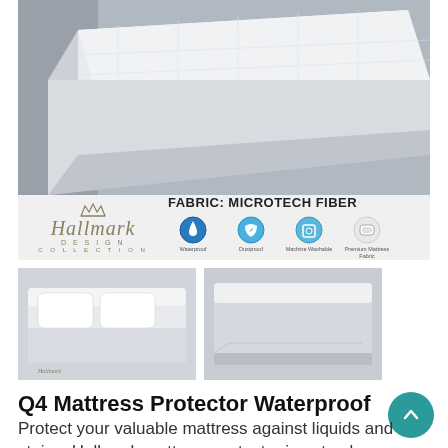[Figure (photo): Close-up photo of a white mattress protector fitted on a mattress, showing the top surface and corners against a grey background]
[Figure (infographic): Hallmark Design Collection banner with logo on the left and FABRIC: MICROTECH FIBER label on the right with four feature icons: Waterproof, Dustproof, Machine Washable, Premium Mattress Fabric]
[Figure (photo): Thumbnail image of white mattress protector with pillow on a bed]
[Figure (photo): Thumbnail image of white mattress protector on a bed without pillow]
Q4 Mattress Protector Waterproof
Protect your valuable mattress against liquids and stains. Hallmark mattress protector is not only waterproof; it is top-layered with premium